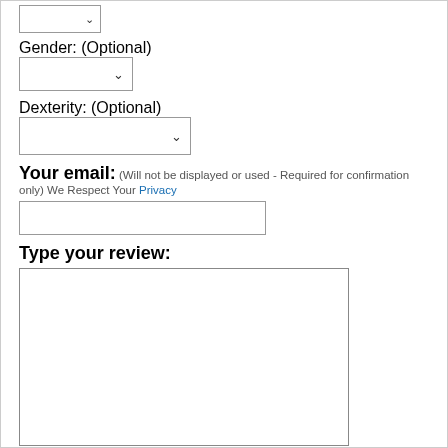[Figure (screenshot): A dropdown select box at top of page (partial, cropped)]
Gender: (Optional)
[Figure (screenshot): Gender dropdown select box]
Dexterity: (Optional)
[Figure (screenshot): Dexterity dropdown select box]
Your email: (Will not be displayed or used - Required for confirmation only) We Respect Your Privacy
[Figure (screenshot): Email text input field]
Type your review:
[Figure (screenshot): Large review textarea]